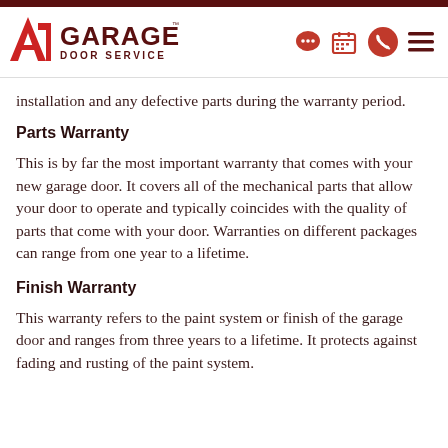A1 Garage Door Service
installation and any defective parts during the warranty period.
Parts Warranty
This is by far the most important warranty that comes with your new garage door. It covers all of the mechanical parts that allow your door to operate and typically coincides with the quality of parts that come with your door. Warranties on different packages can range from one year to a lifetime.
Finish Warranty
This warranty refers to the paint system or finish of the garage door and ranges from three years to a lifetime. It protects against fading and rusting of the paint system.